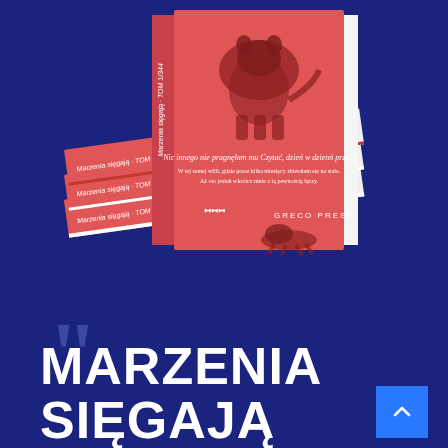[Figure (photo): A stack of red/salmon colored books with an animal (wombat or similar) illustration on the cover, shown at an angle against a dark blue background. The book spines show text in white.]
”
MARZENIA
SIĘGAJĄ